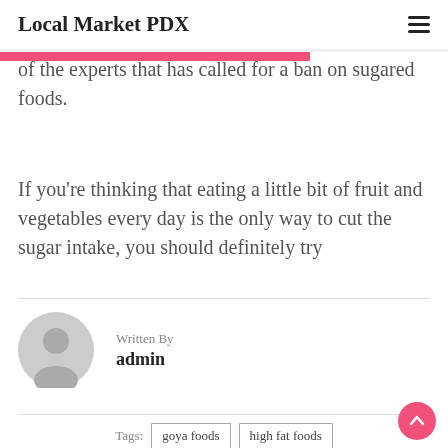Local Market PDX
of the experts that has called for a ban on sugared foods.
If you're thinking that eating a little bit of fruit and vegetables every day is the only way to cut the sugar intake, you should definitely try
Written By
admin
Tags:  goya foods  high fat foods